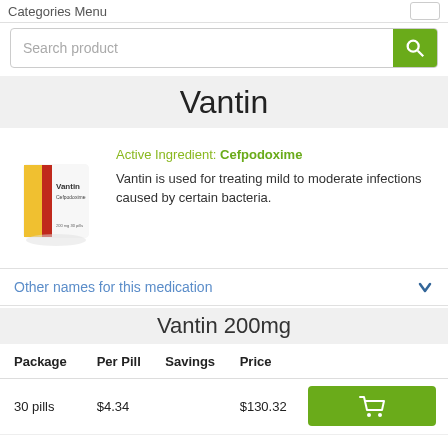Categories Menu
Search product
Vantin
[Figure (photo): Vantin medication box — white/yellow/red packaging with Vantin label]
Active Ingredient: Cefpodoxime
Vantin is used for treating mild to moderate infections caused by certain bacteria.
Other names for this medication
Vantin 200mg
| Package | Per Pill | Savings | Price |
| --- | --- | --- | --- |
| 30 pills | $4.34 |  | $130.32 |
[Figure (other): Green shopping cart button]